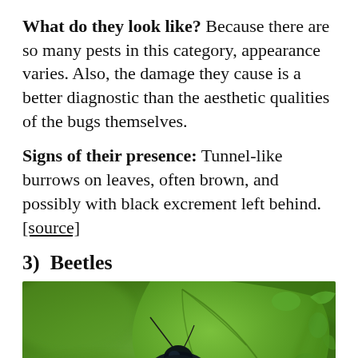What do they look like? Because there are so many pests in this category, appearance varies. Also, the damage they cause is a better diagnostic than the aesthetic qualities of the bugs themselves.
Signs of their presence: Tunnel-like burrows on leaves, often brown, and possibly with black excrement left behind. [source]
3) Beetles
[Figure (photo): Close-up photograph of a dark metallic blue-black beetle on a green leaf with visible feeding damage (holes in the leaf). Blurred green background.]